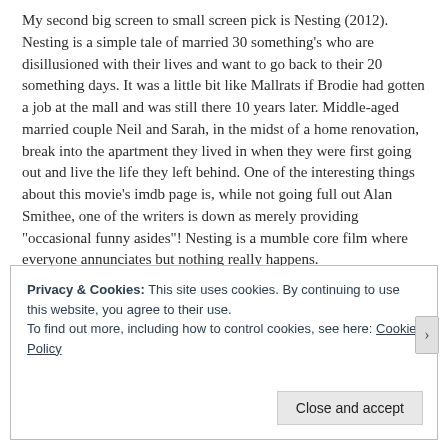My second big screen to small screen pick is Nesting (2012). Nesting is a simple tale of married 30 something's who are disillusioned with their lives and want to go back to their 20 something days. It was a little bit like Mallrats if Brodie had gotten a job at the mall and was still there 10 years later. Middle-aged married couple Neil and Sarah, in the midst of a home renovation, break into the apartment they lived in when they were first going out and live the life they left behind. One of the interesting things about this movie's imdb page is, while not going full out Alan Smithee, one of the writers is down as merely providing "occasional funny asides"! Nesting is a mumble core film where everyone annunciates but nothing really happens.
Privacy & Cookies: This site uses cookies. By continuing to use this website, you agree to their use. To find out more, including how to control cookies, see here: Cookie Policy
Close and accept